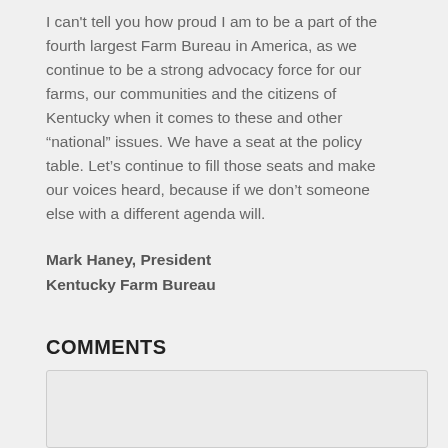I can't tell you how proud I am to be a part of the fourth largest Farm Bureau in America, as we continue to be a strong advocacy force for our farms, our communities and the citizens of Kentucky when it comes to these and other “national” issues. We have a seat at the policy table. Let’s continue to fill those seats and make our voices heard, because if we don’t someone else with a different agenda will.
Mark Haney, President
Kentucky Farm Bureau
COMMENTS
Post a Comment
Name*